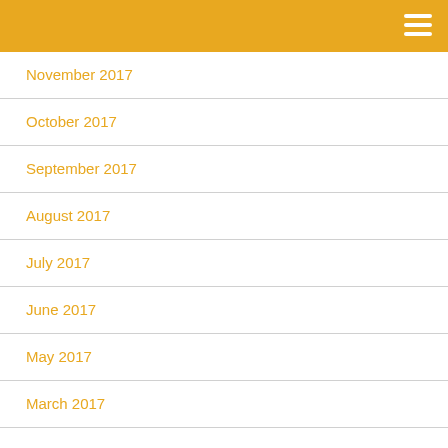November 2017
October 2017
September 2017
August 2017
July 2017
June 2017
May 2017
March 2017